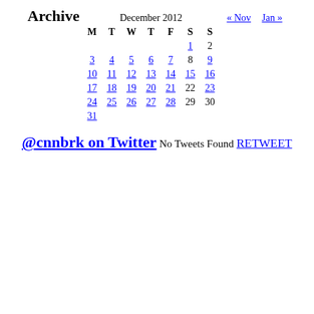Archive
| M | T | W | T | F | S | S |
| --- | --- | --- | --- | --- | --- | --- |
|  |  |  |  |  | 1 | 2 |
| 3 | 4 | 5 | 6 | 7 | 8 | 9 |
| 10 | 11 | 12 | 13 | 14 | 15 | 16 |
| 17 | 18 | 19 | 20 | 21 | 22 | 23 |
| 24 | 25 | 26 | 27 | 28 | 29 | 30 |
| 31 |  |  |  |  |  |  |
« Nov   Jan »
@cnnbrk on Twitter
No Tweets Found
RETWEET